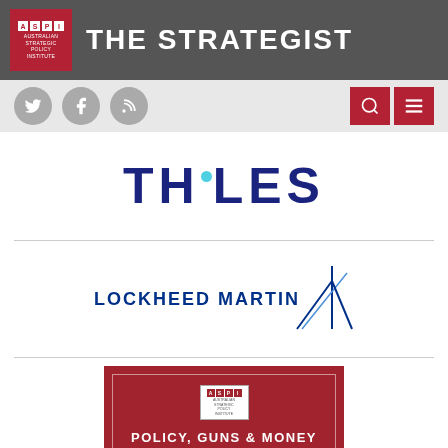THE STRATEGIST — Australian Strategic Policy Institute
[Figure (logo): Thales logo in dark blue bold letters with a teal dot]
[Figure (logo): Lockheed Martin logo with blue text and star/arrow graphic]
[Figure (logo): ASPI Policy, Guns & Money — The ASPI Podcast logo on dark red background]